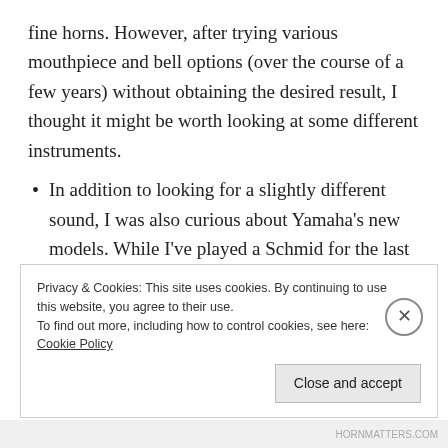fine horns. However, after trying various mouthpiece and bell options (over the course of a few years) without obtaining the desired result, I thought it might be worth looking at some different instruments.
In addition to looking for a slightly different sound, I was also curious about Yamaha's new models. While I've played a Schmid for the last five years, I played Yamahas for the previous fourteen years before that. In many ways,
Privacy & Cookies: This site uses cookies. By continuing to use this website, you agree to their use.
To find out more, including how to control cookies, see here: Cookie Policy
Close and accept